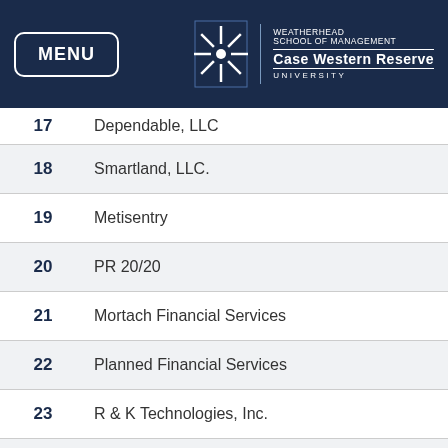MENU | WEATHERHEAD SCHOOL OF MANAGEMENT CASE WESTERN RESERVE UNIVERSITY
| # | Company |
| --- | --- |
| 17 | Dependable, LLC |
| 18 | Smartland, LLC. |
| 19 | Metisentry |
| 20 | PR 20/20 |
| 21 | Mortach Financial Services |
| 22 | Planned Financial Services |
| 23 | R & K Technologies, Inc. |
| 24 | Aurum Wealth Management Group, LLC |
| 25 | Razor Ltd. LLC |
| 26 | American Heelers |